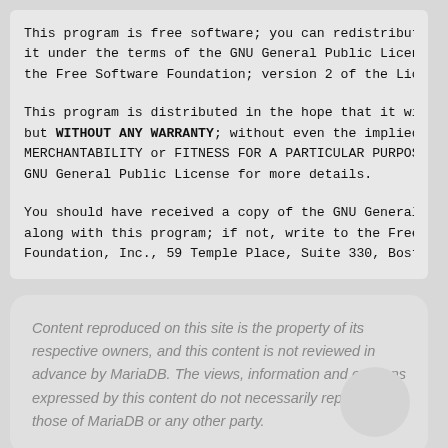This program is free software; you can redistribute it it under the terms of the GNU General Public License a the Free Software Foundation; version 2 of the License
This program is distributed in the hope that it will b but WITHOUT ANY WARRANTY; without even the implied war MERCHANTABILITY or FITNESS FOR A PARTICULAR PURPOSE. GNU General Public License for more details.
You should have received a copy of the GNU General Pub along with this program; if not, write to the Free Sof Foundation, Inc., 59 Temple Place, Suite 330, Boston,
Content reproduced on this site is the property of its respective owners, and this content is not reviewed in advance by MariaDB. The views, information and opinions expressed by this content do not necessarily represent those of MariaDB or any other party.